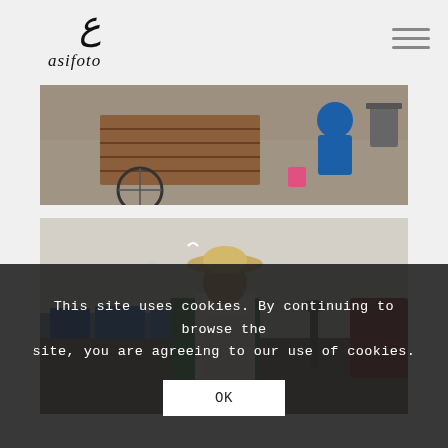[Figure (logo): Asifoto logo with Arabic calligraphy and cursive text 'asifoto']
[Figure (photo): Overhead view of a person working on the ground with wooden planks, a bicycle wheel visible, and a pink bucket, on pavement]
[Figure (photo): Man wearing a straw hat and white apron, seated near harbor with fishing boats and seagulls in background]
This site uses cookies. By continuing to browse the site, you are agreeing to our use of cookies.
OK